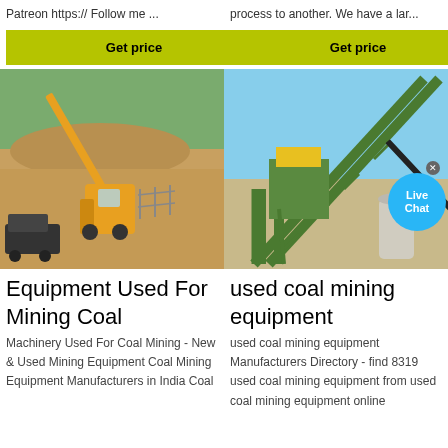Patreon https:// Follow me ...
process to another. We have a lar...
[Figure (other): Yellow Get price button on olive/yellow-green background]
[Figure (other): Yellow Get price button on olive/yellow-green background]
[Figure (photo): Yellow crane/mobile crane at an open pit mining or construction site with sandy terrain and trees in background]
[Figure (photo): Green conveyor belt structure at a coal/mining facility with clear blue sky background, with a Live Chat popup bubble overlay]
Equipment Used For Mining Coal
used coal mining equipment
Machinery Used For Coal Mining - New & Used Mining Equipment Coal Mining Equipment Manufacturers in India Coal
used coal mining equipment Manufacturers Directory - find 8319 used coal mining equipment from used coal mining equipment online